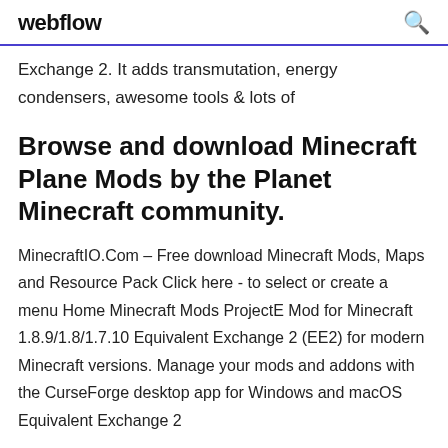webflow
Exchange 2. It adds transmutation, energy condensers, awesome tools & lots of
Browse and download Minecraft Plane Mods by the Planet Minecraft community.
MinecraftIO.Com – Free download Minecraft Mods, Maps and Resource Pack Click here - to select or create a menu Home Minecraft Mods ProjectE Mod for Minecraft 1.8.9/1.8/1.7.10 Equivalent Exchange 2 (EE2) for modern Minecraft versions. Manage your mods and addons with the CurseForge desktop app for Windows and macOS Equivalent Exchange 2